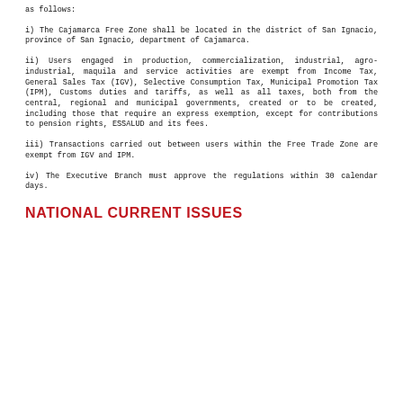as follows:
i) The Cajamarca Free Zone shall be located in the district of San Ignacio, province of San Ignacio, department of Cajamarca.
ii) Users engaged in production, commercialization, industrial, agro-industrial, maquila and service activities are exempt from Income Tax, General Sales Tax (IGV), Selective Consumption Tax, Municipal Promotion Tax (IPM), Customs duties and tariffs, as well as all taxes, both from the central, regional and municipal governments, created or to be created, including those that require an express exemption, except for contributions to pension rights, ESSALUD and its fees.
iii) Transactions carried out between users within the Free Trade Zone are exempt from IGV and IPM.
iv) The Executive Branch must approve the regulations within 30 calendar days.
NATIONAL CURRENT ISSUES